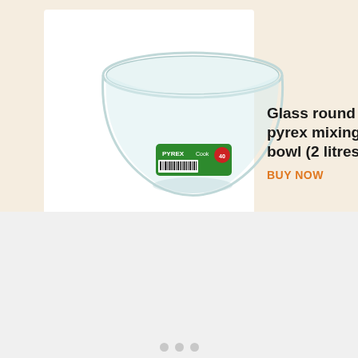[Figure (photo): A clear glass round Pyrex mixing bowl (2 litres) with a green label showing the Pyrex brand logo and a barcode sticker.]
Glass round pyrex mixing bowl (2 litres)
BUY NOW